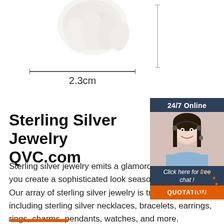[Figure (photo): White pearl/jewelry item cropped at top of page with measurement line showing 2.3cm width]
2.3cm
[Figure (photo): 24/7 Online customer service widget with woman wearing headset, dark blue background, click here for free chat text, and orange QUOTATION button]
Sterling Silver Jewelry QVC.com
Sterling silver jewelry emits a glamorous that helps you create a sophisticated look season and occasion. Our array of sterling silver jewelry is truly breathtaking, including sterling silver necklaces, bracelets, earrings, rings, charms, pendants, watches, and more.
[Figure (logo): TOP badge with orange dots and text]